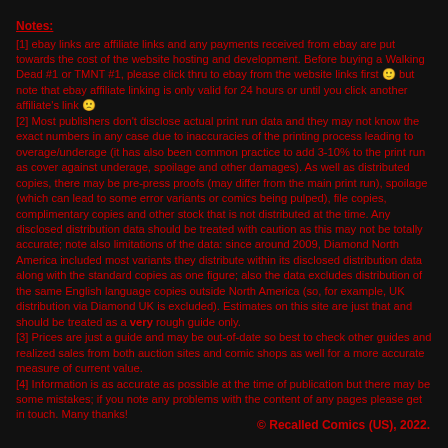Notes:
[1] ebay links are affiliate links and any payments received from ebay are put towards the cost of the website hosting and development. Before buying a Walking Dead #1 or TMNT #1, please click thru to ebay from the website links first 🙂 but note that ebay affiliate linking is only valid for 24 hours or until you click another affiliate's link 😦
[2] Most publishers don't disclose actual print run data and they may not know the exact numbers in any case due to inaccuracies of the printing process leading to overage/underage (it has also been common practice to add 3-10% to the print run as cover against underage, spoilage and other damages). As well as distributed copies, there may be pre-press proofs (may differ from the main print run), spoilage (which can lead to some error variants or comics being pulped), file copies, complimentary copies and other stock that is not distributed at the time. Any disclosed distribution data should be treated with caution as this may not be totally accurate; note also limitations of the data: since around 2009, Diamond North America included most variants they distribute within its disclosed distribution data along with the standard copies as one figure; also the data excludes distribution of the same English language copies outside North America (so, for example, UK distribution via Diamond UK is excluded). Estimates on this site are just that and should be treated as a very rough guide only.
[3] Prices are just a guide and may be out-of-date so best to check other guides and realized sales from both auction sites and comic shops as well for a more accurate measure of current value.
[4] Information is as accurate as possible at the time of publication but there may be some mistakes; if you note any problems with the content of any pages please get in touch. Many thanks!
© Recalled Comics (US), 2022.